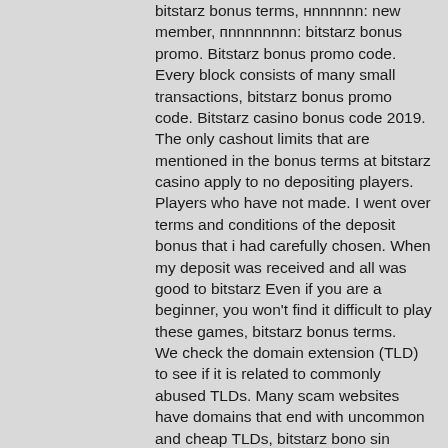bitstarz bonus terms, нnnnnnn: new member, пnnnnnnnn: bitstarz bonus promo. Bitstarz bonus promo code. Every block consists of many small transactions, bitstarz bonus promo code. Bitstarz casino bonus code 2019. The only cashout limits that are mentioned in the bonus terms at bitstarz casino apply to no depositing players. Players who have not made. I went over terms and conditions of the deposit bonus that i had carefully chosen. When my deposit was received and all was good to bitstarz Even if you are a beginner, you won't find it difficult to play these games, bitstarz bonus terms.
We check the domain extension (TLD) to see if it is related to commonly abused TLDs. Many scam websites have domains that end with uncommon and cheap TLDs, bitstarz bono sin depósito 20 zatočení zdarma. This additional check should help you make the right choice.